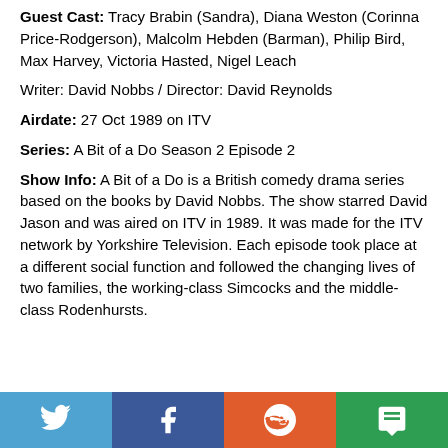Guest Cast: Tracy Brabin (Sandra), Diana Weston (Corinna Price-Rodgerson), Malcolm Hebden (Barman), Philip Bird, Max Harvey, Victoria Hasted, Nigel Leach
Writer: David Nobbs / Director: David Reynolds
Airdate: 27 Oct 1989 on ITV
Series: A Bit of a Do Season 2 Episode 2
Show Info: A Bit of a Do is a British comedy drama series based on the books by David Nobbs. The show starred David Jason and was aired on ITV in 1989. It was made for the ITV network by Yorkshire Television. Each episode took place at a different social function and followed the changing lives of two families, the working-class Simcocks and the middle-class Rodenhursts.
[Figure (other): Social sharing buttons: Twitter, Facebook, Reddit, SMS]